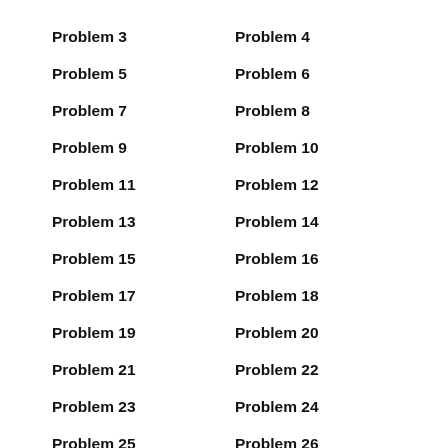Problem 3
Problem 4
Problem 5
Problem 6
Problem 7
Problem 8
Problem 9
Problem 10
Problem 11
Problem 12
Problem 13
Problem 14
Problem 15
Problem 16
Problem 17
Problem 18
Problem 19
Problem 20
Problem 21
Problem 22
Problem 23
Problem 24
Problem 25
Problem 26
Problem 27
Problem 28
Problem 29
Problem 30
Problem 31
Problem 32